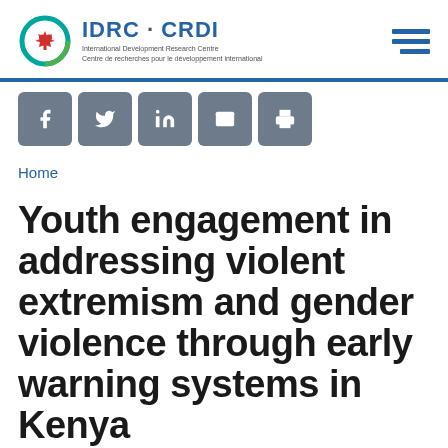[Figure (logo): IDRC CRDI logo with maple leaf icon, text 'IDRC · CRDI', 'International Development Research Centre', 'Centre de recherches pour le développement international']
[Figure (other): Hamburger menu icon with three horizontal blue lines]
[Figure (infographic): Social media sharing buttons: Facebook, Twitter, LinkedIn, Email, Print on grey square backgrounds]
Home
Youth engagement in addressing violent extremism and gender violence through early warning systems in Kenya